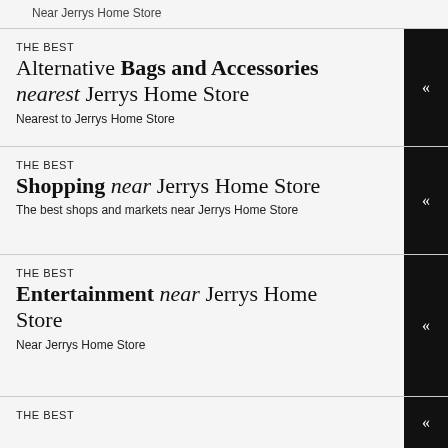Near Jerrys Home Store
THE BEST
Alternative Bags and Accessories nearest Jerrys Home Store
Nearest to Jerrys Home Store
THE BEST
Shopping near Jerrys Home Store
The best shops and markets near Jerrys Home Store
THE BEST
Entertainment near Jerrys Home Store
Near Jerrys Home Store
THE BEST